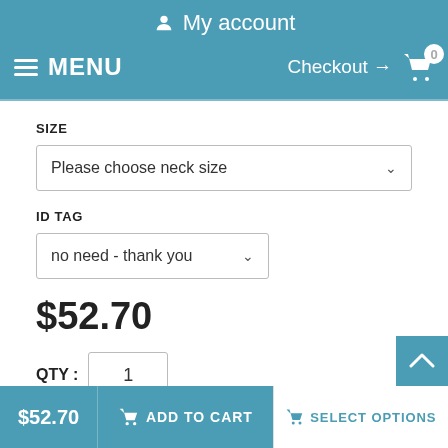My account
MENU  Checkout → 0
SIZE
Please choose neck size
ID TAG
no need - thank you
$52.70
QTY : 1
$52.70  ADD TO CART  SELECT OPTIONS